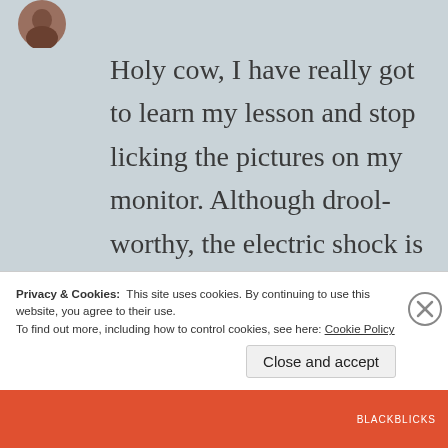[Figure (photo): Small circular avatar photo of a person, partially visible at top left]
Holy cow, I have really got to learn my lesson and stop licking the pictures on my monitor. Although drool-worthy, the electric shock is not so tasty. Still, I can't wait to try this out. Never heard of 'slice' before, but it looks a little
Privacy & Cookies:  This site uses cookies. By continuing to use this website, you agree to their use.
To find out more, including how to control cookies, see here: Cookie Policy
Close and accept